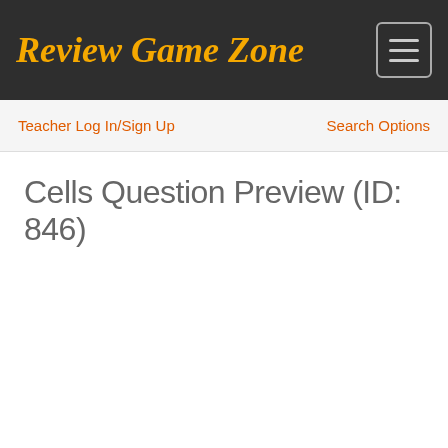Review Game Zone
Teacher Log In/Sign Up
Search Options
Cells Question Preview (ID: 846)